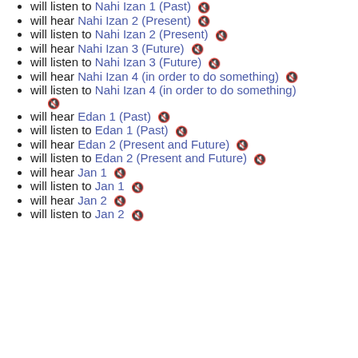will listen to Nahi Izan 1 (Past) 🔊
will hear Nahi Izan 2 (Present) 🔊
will listen to Nahi Izan 2 (Present) 🔊
will hear Nahi Izan 3 (Future) 🔊
will listen to Nahi Izan 3 (Future) 🔊
will hear Nahi Izan 4 (in order to do something) 🔊
will listen to Nahi Izan 4 (in order to do something) 🔊
will hear Edan 1 (Past) 🔊
will listen to Edan 1 (Past) 🔊
will hear Edan 2 (Present and Future) 🔊
will listen to Edan 2 (Present and Future) 🔊
will hear Jan 1 🔊
will listen to Jan 1 🔊
will hear Jan 2 🔊
will listen to Jan 2 🔊